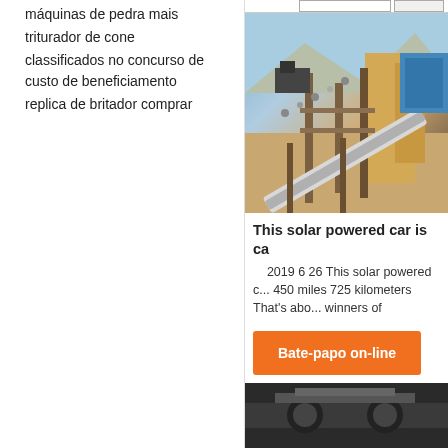máquinas de pedra mais
triturador de cone
classificados no concurso de custo de beneficiamento
replica de britador comprar
[Figure (photo): Industrial quarry stone crushing conveyor belt and equipment against mountain backdrop]
This solar powered car is ca
2019 6 26 This solar powered c... 450 miles 725 kilometers That's abo... winners of
Bate-papo on-line
[Figure (photo): Dark industrial machinery photo at bottom]